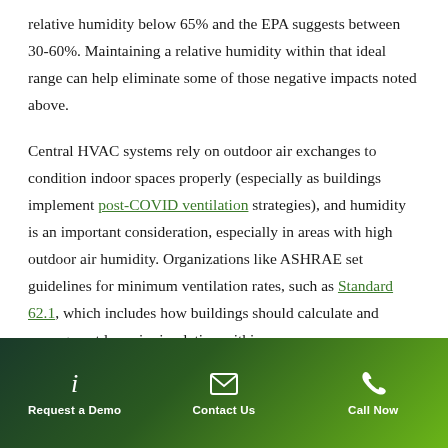relative humidity below 65% and the EPA suggests between 30-60%. Maintaining a relative humidity within that ideal range can help eliminate some of those negative impacts noted above.
Central HVAC systems rely on outdoor air exchanges to condition indoor spaces properly (especially as buildings implement post-COVID ventilation strategies), and humidity is an important consideration, especially in areas with high outdoor air humidity. Organizations like ASHRAE set guidelines for minimum ventilation rates, such as Standard 62.1, which includes how buildings should calculate and manage outdoor air circulation within
Request a Demo | Contact Us | Call Now